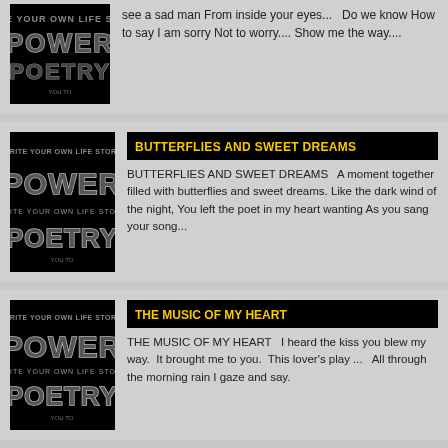[Figure (illustration): Power Poetry logo - black background with stylized text POWER and POETRY in white/grey, with 'Write Your Own Life Story' text]
see a sad man From inside your eyes...   Do we know How to say I am sorry Not to worry....  Show me the way....
[Figure (illustration): Power Poetry logo - black background with stylized text POWER and POETRY in white/grey, with 'Write Your Own Life Story' text]
BUTTERFLIES AND SWEET DREAMS
BUTTERFLIES AND SWEET DREAMS   A moment together filled with butterflies and sweet dreams. Like the dark wind of the night, You left the poet in my heart wanting As you sang your song...
[Figure (illustration): Power Poetry logo - black background with stylized text POWER and POETRY in white/grey, with 'Write Your Own Life Story' text]
THE MUSIC OF MY HEART
THE MUSIC OF MY HEART   I heard the kiss you blew my way.  It brought me to you.  This lover's play ...   All through the morning rain I gaze and say.